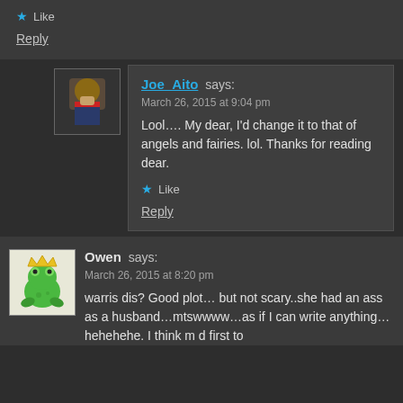Like
Reply
Joe_Aito says: March 26, 2015 at 9:04 pm
Lool…. My dear, I'd change it to that of angels and fairies. lol. Thanks for reading dear.
Like
Reply
Owen says: March 26, 2015 at 8:20 pm
warris dis? Good plot… but not scary..she had an ass as a husband…mtswwww…as if I can write anything… hehehehe. I think m d first to